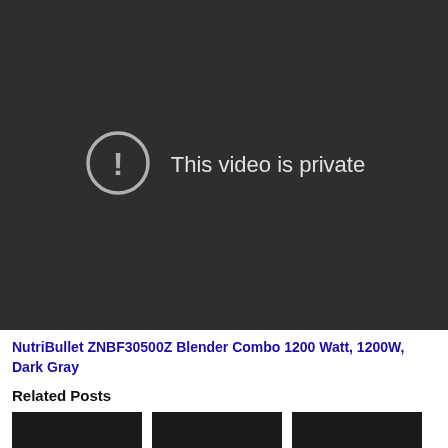[Figure (screenshot): Dark video player area showing 'This video is private' message with a circular exclamation icon]
NutriBullet ZNBF30500Z Blender Combo 1200 Watt, 1200W, Dark Gray
Related Posts
[Figure (photo): Three dark thumbnail images in a row below Related Posts]